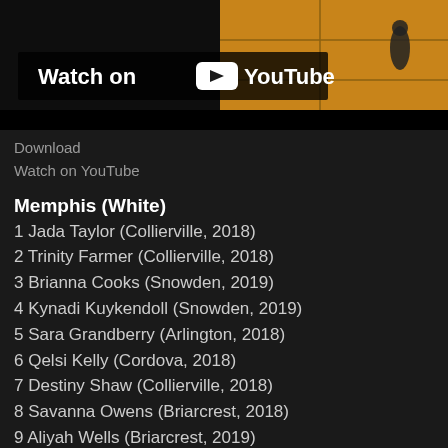[Figure (screenshot): Video thumbnail showing a basketball court with 'Watch on YouTube' badge overlay]
Download
Watch on YouTube
Memphis (White)
1 Jada Taylor (Collierville, 2018)
2 Trinity Farmer (Collierville, 2018)
3 Brianna Cooks (Snowden, 2019)
4 Kynadi Kuykendoll (Snowden, 2019)
5 Sara Grandberry (Arlington, 2018)
6 Qelsi Kelly (Cordova, 2018)
7 Destiny Shaw (Collierville, 2018)
8 Savanna Owens (Briarcrest, 2018)
9 Aliyah Wells (Briarcrest, 2019)
10 Morgan Walton (Whitehaven, 2015
Tennessee (Orange)
1 Alexis Taylor (Collierville, 2018)
2 Kylie Loadhart (MHEA, 2018)